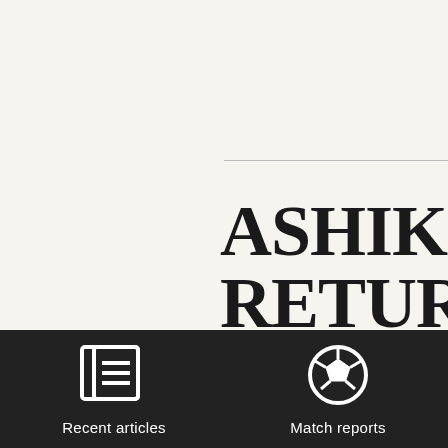ASHIKO RETURNS WATFORD
[Figure (illustration): Newspaper/article icon — white outline of a newspaper with columns, on dark background]
Recent articles
[Figure (illustration): Soccer ball icon — white outline of a football/soccer ball, on dark background]
Match reports